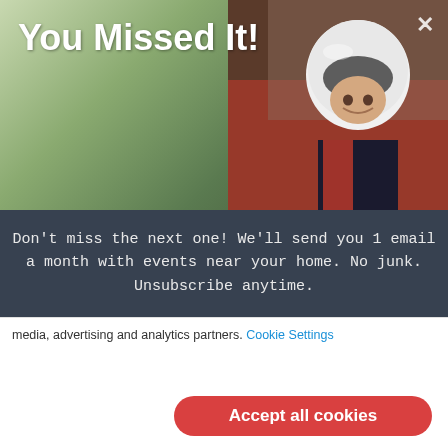[Figure (screenshot): Modal popup over a website. Top section shows a hero image with a woman in a racing helmet inside a race car, on a green/nature background. Large white bold title text reads 'You Missed It!' overlaid on the top-left. A white X close button appears top-right.]
You Missed It!
Don't miss the next one! We'll send you 1 email a month with events near your home. No junk. Unsubscribe anytime.
Enter your email address
Enter your postal/zip code
SEND ME EVENTS ON A SILVER PLATTER >>
media, advertising and analytics partners. Cookie Settings
Accept all cookies